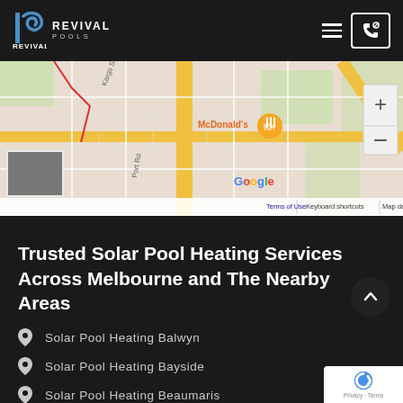[Figure (logo): Revival Pools logo — blue swirl icon with vertical bar, white text REVIVAL POOLS]
[Figure (map): Google Maps screenshot showing Melbourne suburban streets with McDonald's marker, zoom controls, map thumbnail, and footer: Keyboard shortcuts | Map data ©2022 | Terms of Use]
Trusted Solar Pool Heating Services Across Melbourne and The Nearby Areas
Solar Pool Heating Balwyn
Solar Pool Heating Bayside
Solar Pool Heating Beaumaris
Solar Pool Heating Brighton